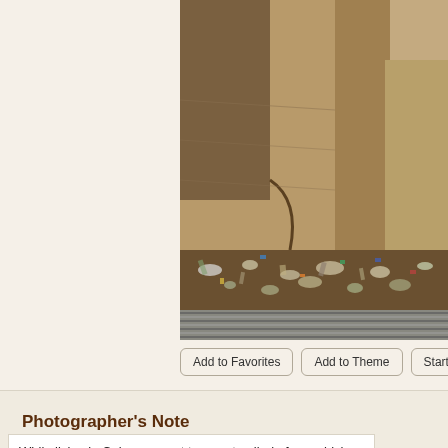[Figure (photo): Photograph showing a scene in Cairo with deteriorating mud brick or stone walls in the background and a large amount of garbage, debris, and litter scattered on the ground. A corrugated metal or striped surface is visible at the bottom of the image.]
Add to Favorites
Add to Theme
Start Discussion
Po...
Photographer's Note
While living in Cairo we went to an art galleria from which this picture was taken...